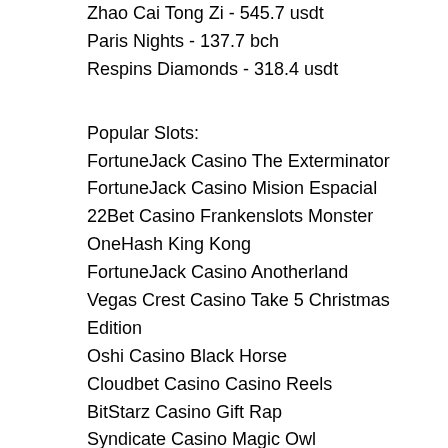Zhao Cai Tong Zi - 545.7 usdt
Paris Nights - 137.7 bch
Respins Diamonds - 318.4 usdt
Popular Slots:
FortuneJack Casino The Exterminator
FortuneJack Casino Mision Espacial
22Bet Casino Frankenslots Monster
OneHash King Kong
FortuneJack Casino Anotherland
Vegas Crest Casino Take 5 Christmas Edition
Oshi Casino Black Horse
Cloudbet Casino Casino Reels
BitStarz Casino Gift Rap
Syndicate Casino Magic Owl
FortuneJack Casino Road Trip
CryptoWild Casino Ghosts of Christmas
Oshi Casino Magic Hunter
Bitcasino.io Age of the Gods Furious Four
BetChain Casino 888 Gold